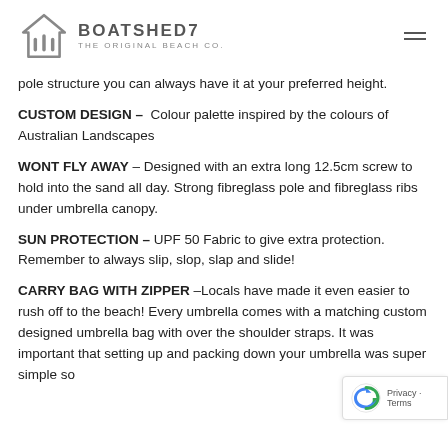BOATSHED7 THE ORIGINAL BEACH CO.
pole structure you can always have it at your preferred height.
CUSTOM DESIGN –  Colour palette inspired by the colours of Australian Landscapes
WONT FLY AWAY – Designed with an extra long 12.5cm screw to hold into the sand all day. Strong fibreglass pole and fibreglass ribs under umbrella canopy.
SUN PROTECTION – UPF 50 Fabric to give extra protection. Remember to always slip, slop, slap and slide!
CARRY BAG WITH ZIPPER –Locals have made it even easier to rush off to the beach! Every umbrella comes with a matching custom designed umbrella bag with over the shoulder straps. It was important that setting up and packing down your umbrella was super simple so